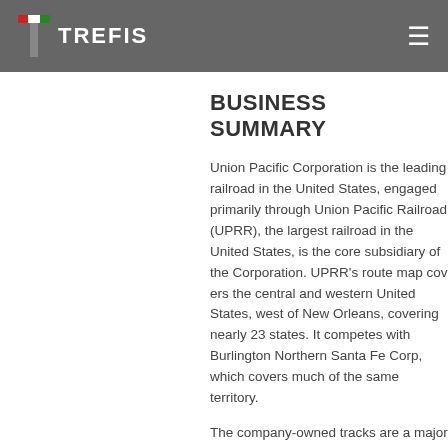TREFIS
BUSINESS SUMMARY
Union Pacific Corporation is the leading railroad in the United States, engaged primarily through Union Pacific Railroad (UPRR), the largest railroad in the United States, is the core subsidiary of the Corporation. UPRR's route map covers the central and western United States, west of New Orleans, covering nearly 23 states. It competes with Burlington Northern Santa Fe Corp, which covers much of the same territory.
The company-owned tracks are a major asset for Union Pacific. The company operates on 32,094 miles of track, of which 26,094 is owned and the remainder is subject to trackage rights or leases. Union Pacific serves north/south corridors and is the only railroad serving all major gateways to Mexico. UP also connects with the Canadian rail systems.